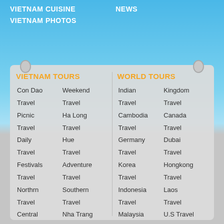VIETNAM CUISINE    NEWS
VIETNAM PHOTOS
VIETNAM TOURS
Con Dao Travel
Weekend Travel
Picnic Travel
Ha Long Travel
Daily Travel
Hue Travel
Festivals Travel
Adventure Travel
Northrn Travel
Southern Travel
Central Travel
Nha Trang Travel
Ha Giang Travel
Sapa Travel
Cao Bang Travel
Discover Ha Long Travel
WORLD TOURS
Indian Travel
Kingdom Travel
Cambodia Travel
Canada Travel
Germany Travel
Dubai Travel
Korea Travel
Hongkong Travel
Indonesia Travel
Laos Travel
Malaysia Travel
U.S Travel
Myanma Travel
South Affica Travel
Russian Travel
Japan Travel